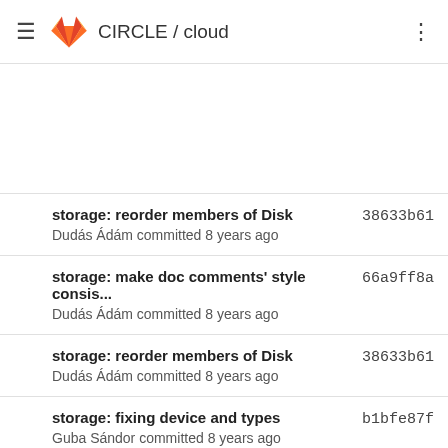CIRCLE / cloud
storage: reorder members of Disk
Dudás Ádám committed 8 years ago
38633b61
storage: make doc comments' style consis...
Dudás Ádám committed 8 years ago
66a9ff8a
storage: reorder members of Disk
Dudás Ádám committed 8 years ago
38633b61
storage: fixing device and types
Guba Sándor committed 8 years ago
b1bfe87f
added bus parameter to disk
Guba Sándor committed 8 years ago
2fc1d0c1